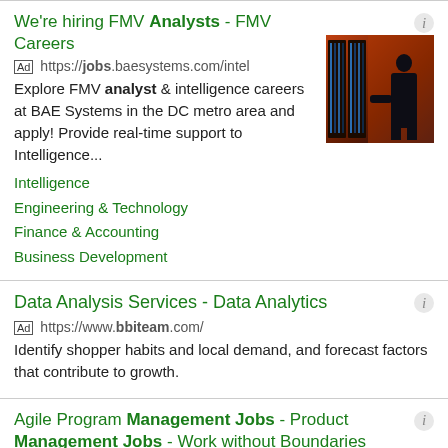We're hiring FMV Analysts - FMV Careers
Ad https://jobs.baesystems.com/intel
Explore FMV analyst & intelligence careers at BAE Systems in the DC metro area and apply! Provide real-time support to Intelligence...
Intelligence
Engineering & Technology
Finance & Accounting
Business Development
[Figure (photo): A person (silhouette) standing in front of glowing server racks with blue and red lighting in a dark data center environment]
Data Analysis Services - Data Analytics
Ad https://www.bbiteam.com/
Identify shopper habits and local demand, and forecast factors that contribute to growth.
Agile Program Management Jobs - Product Management Jobs - Work without Boundaries
Ad https://careers.publicissapient.com/
Wide range of industry opportunities. Meaningful global...